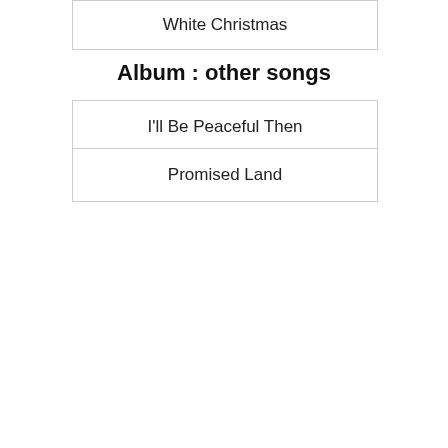White Christmas
Album : other songs
I'll Be Peaceful Then
Promised Land